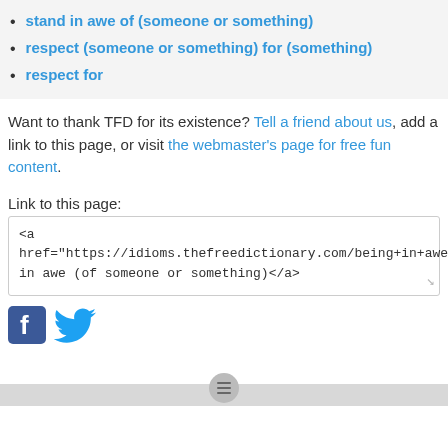stand in awe of (someone or something)
respect (someone or something) for (something)
respect for
Want to thank TFD for its existence? Tell a friend about us, add a link to this page, or visit the webmaster's page for free fun content.
Link to this page:
<a href="https://idioms.thefreedictionary.com/being+in+awe">be in awe (of someone or something)</a>
[Figure (logo): Facebook and Twitter social media icons]